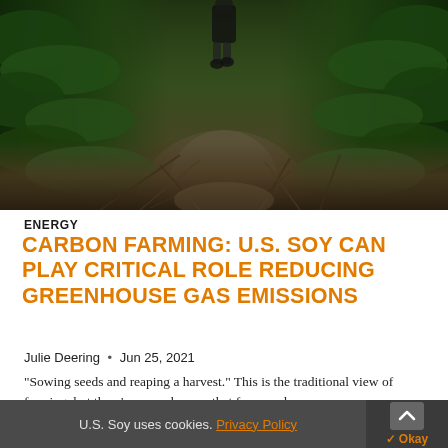[Figure (photo): A person walking through dense green soybean or crop plants on a path covered with sticks and organic debris, viewed from a low angle. Lush green vegetation flanks both sides of a narrow dirt path.]
ENERGY
CARBON FARMING: U.S. SOY CAN PLAY CRITICAL ROLE REDUCING GREENHOUSE GAS EMISSIONS
Julie Deering  •  Jun 25, 2021
“Sowing seeds and reaping a harvest.” This is the traditional view of farming, but there’s so much more that farmers do
U.S. Soy uses cookies. Privacy Policy  ✓ Okay